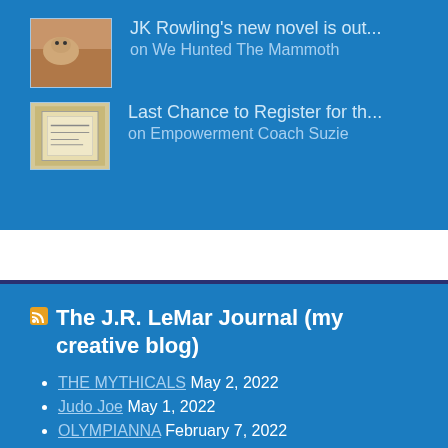[Figure (photo): Small thumbnail image of a cat on a desk or surface with a reddish/warm background]
JK Rowling's new novel is out... on We Hunted The Mammoth
[Figure (photo): Small thumbnail image of a framed text document or sign on a light background]
Last Chance to Register for th... on Empowerment Coach Suzie
The J.R. LeMar Journal (my creative blog)
THE MYTHICALS May 2, 2022
Judo Joe May 1, 2022
OLYMPIANNA February 7, 2022
The Righteous Four June 7, 2021
SAMSON sketch June 5, 2021
DELILAH June 3, 2021
SAMSON June 1, 2021